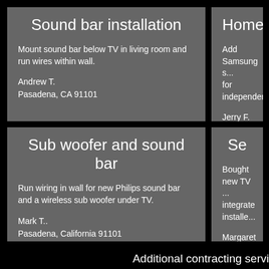Sound bar installation
Mount sound bar below TV in living room and run wires within wall.
Andrew T.
Pasadena, CA 91101
Home
Add Samsung s... for independent...
Jerry F.
Pasadena, CA 9...
Sub woofer and sound bar
Run wiring in wall for new Philips sound bar and a wireless sub woofer under TV.
Mark T..
Pasadena, California 91101
Se
Bought new TV ... integrate installe...
Margaret L..
Pasadena, CA 9...
Additional contracting servi...
Computer Network or wiring - install or repair
TV Wall Mounting Installation
HDTV or off-air antenna install or replace
Satellite dish...
[Figure (logo): HDale logo text in gold/brown on light background]